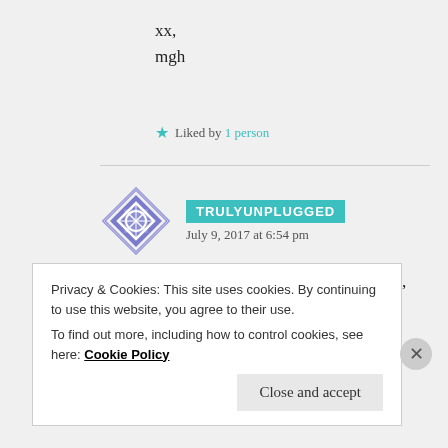xx,
mgh
★ Liked by 1 person
TRULYUNPLUGGED
July 9, 2017 at 6:54 pm
Chatty, relational, open, caring, encouraging, and willing to bare a good deal of ones soul when inspired 🙂
Privacy & Cookies: This site uses cookies. By continuing to use this website, you agree to their use.
To find out more, including how to control cookies, see here: Cookie Policy